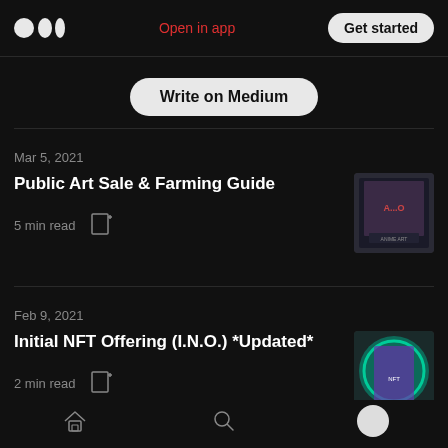Medium — Open in app | Get started
Write on Medium
Mar 5, 2021
Public Art Sale & Farming Guide
5 min read
[Figure (illustration): Thumbnail image for Public Art Sale & Farming Guide article showing anime-style art]
Feb 9, 2021
Initial NFT Offering (I.N.O.) *Updated*
2 min read
[Figure (illustration): Thumbnail image for Initial NFT Offering article showing anime-style art with teal/purple colors]